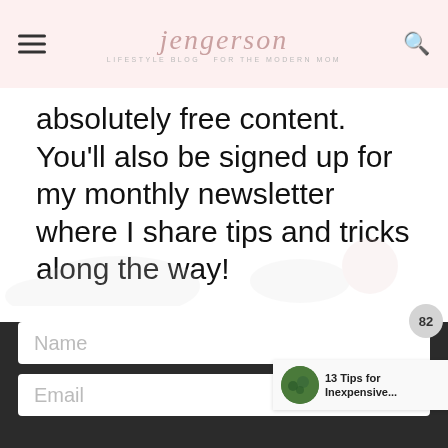jengerson — LIFESTYLE BLOG FOR THE MODERN MOM
absolutely free content. You'll also be signed up for my monthly newsletter where I share tips and tricks along the way!
[Figure (screenshot): Dark form section with Name and Email input fields, badge showing 82, and a sidebar popup reading '13 Tips for Inexpensive...' with a green circular image]
[Figure (screenshot): Ad banner: CarMax advertisement reading 'See Cars Your Budget Will Love' with CarMax logo and blue navigation arrow icon, with close button]